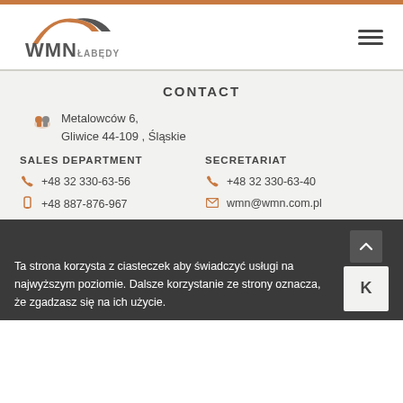[Figure (logo): WMN Łabędy company logo with stylized roof shape in brown and dark grey, text WMN in grey and ŁABĘDY below]
CONTACT
Metalowców 6, Gliwice 44-109 , Śląskie
SALES DEPARTMENT
SECRETARIAT
+48 32 330-63-56
+48 32 330-63-40
+48 887-876-967
wmn@wmn.com.pl
Ta strona korzysta z ciasteczek aby świadczyć usługi na najwyższym poziomie. Dalsze korzystanie ze strony oznacza, że zgadzasz się na ich użycie.